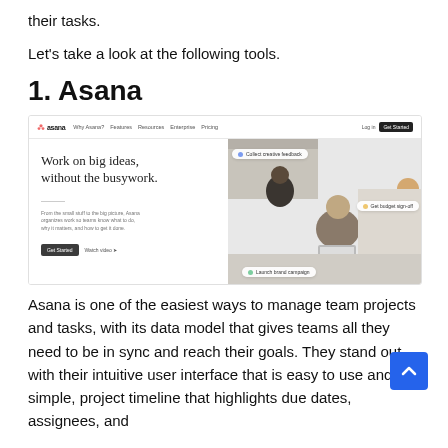their tasks.
Let's take a look at the following tools.
1. Asana
[Figure (screenshot): Screenshot of the Asana website homepage showing the navigation bar with the Asana logo and 'Get Started' button, the headline 'Work on big ideas, without the busywork.', descriptive subtext, action buttons, and a photo of people collaborating with floating UI chips reading 'Collect creative feedback', 'Get budget sign-off', and 'Launch brand campaign'.]
Asana is one of the easiest ways to manage team projects and tasks, with its data model that gives teams all they need to be in sync and reach their goals. They stand out with their intuitive user interface that is easy to use and simple, project timeline that highlights due dates, assignees, and